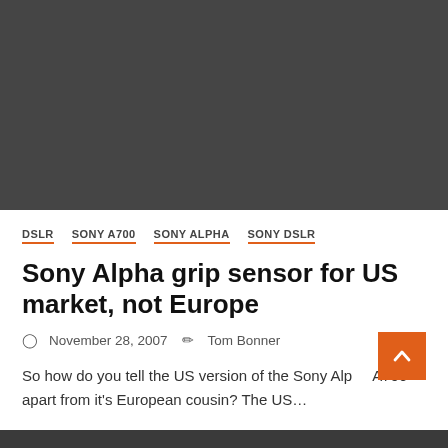[Figure (photo): Dark gray placeholder image area at top of article page]
DSLR   SONY A700   SONY ALPHA   SONY DSLR
Sony Alpha grip sensor for US market, not Europe
November 28, 2007   Tom Bonner
So how do you tell the US version of the Sony Alpha A700 apart from it's European cousin? The US...